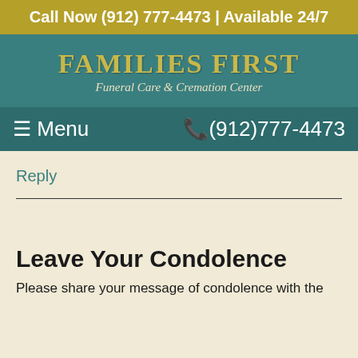Call Now (912) 777-4473 | Available 24/7
[Figure (logo): Families First Funeral Care & Cremation Center logo on teal background]
☰ Menu   ✆(912)777-4473
Reply
Leave Your Condolence
Please share your message of condolence with the